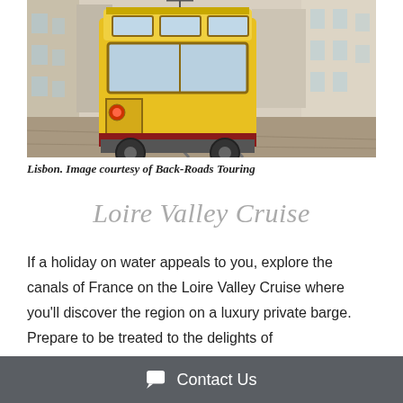[Figure (photo): A yellow vintage tram on a cobblestone street in Lisbon, flanked by tall buildings on either side.]
Lisbon. Image courtesy of Back-Roads Touring
Loire Valley Cruise
If a holiday on water appeals to you, explore the canals of France on the Loire Valley Cruise where you'll discover the region on a luxury private barge. Prepare to be treated to the delights of
Contact Us